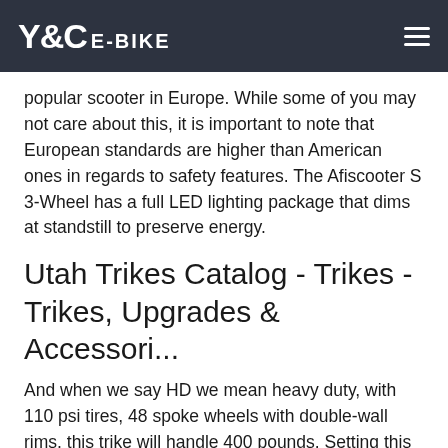Y&C E-BIKE
popular scooter in Europe. While some of you may not care about this, it is important to note that European standards are higher than American ones in regards to safety features. The Afiscooter S 3-Wheel has a full LED lighting package that dims at standstill to preserve energy.
Utah Trikes Catalog - Trikes - Trikes, Upgrades & Accessori...
And when we say HD we mean heavy duty, with 110 psi tires, 48 spoke wheels with double-wall rims, this trike will handle 400 pounds. Setting this trike apart from others is its low center of gravity attained by three 20-inch wheels that are cambered in the rear to increase cornering stability.
The Bike | World Bicycle Reli...
Designed by World Bicycle Relief, the Buffalo Bicycle isn't